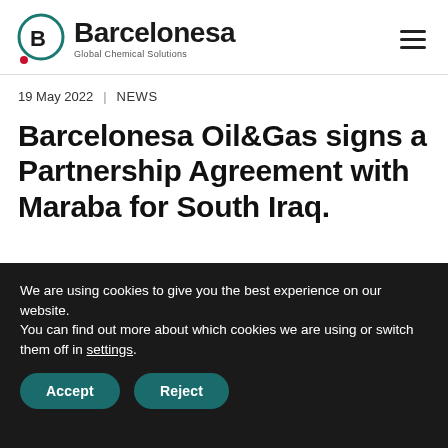Barcelonesa Global Chemical Solutions
19 May 2022  |  NEWS
Barcelonesa Oil&Gas signs a Partnership Agreement with Maraba for South Iraq.
We are using cookies to give you the best experience on our website.
You can find out more about which cookies we are using or switch them off in settings.
Accept   Reject